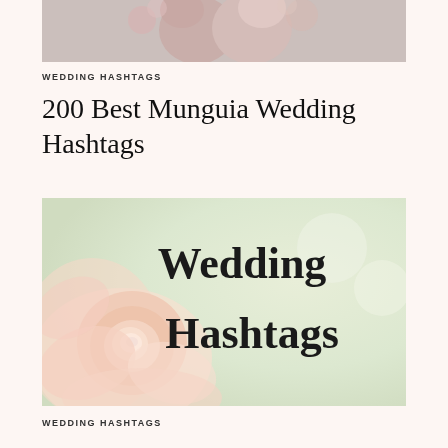[Figure (photo): Partial top image showing what appears to be a wedding couple, cropped at the bottom edge of the frame, with pink/warm tones]
WEDDING HASHTAGS
200 Best Munguia Wedding Hashtags
[Figure (photo): Wedding Hashtags decorative image with a cream/blush rose on the left side and bold text 'Wedding Hashtags' on a light green/cream background]
WEDDING HASHTAGS